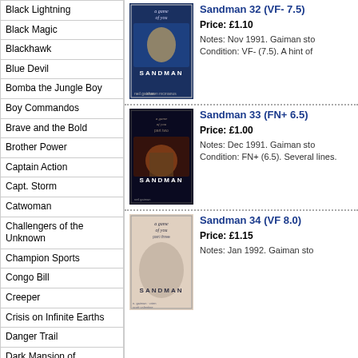| Black Lightning |
| Black Magic |
| Blackhawk |
| Blue Devil |
| Bomba the Jungle Boy |
| Boy Commandos |
| Brave and the Bold |
| Brother Power |
| Captain Action |
| Capt. Storm |
| Catwoman |
| Challengers of the Unknown |
| Champion Sports |
| Congo Bill |
| Creeper |
| Crisis on Infinite Earths |
| Danger Trail |
| Dark Mansion of Forbidden Love |
| DC Comics Presents |
| DC 100 Page Super Spectacular |
| DC Special |
| DC Special Series |
| DC Super-Stars |
| Deathstroke the Terminator |
[Figure (illustration): Sandman 32 comic book cover - A Game of You]
Sandman 32 (VF- 7.5)
Price: £1.10
Notes: Nov 1991. Gaiman sto
Condition: VF- (7.5). A hint of
[Figure (illustration): Sandman 33 comic book cover - A Game of You part two]
Sandman 33 (FN+ 6.5)
Price: £1.00
Notes: Dec 1991. Gaiman sto
Condition: FN+ (6.5). Several lines.
[Figure (illustration): Sandman 34 comic book cover - A Game of You part three]
Sandman 34 (VF 8.0)
Price: £1.15
Notes: Jan 1992. Gaiman sto